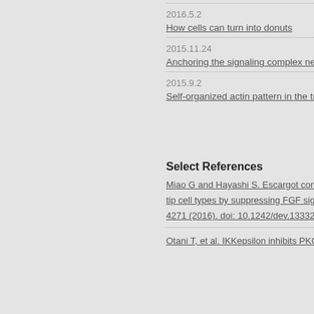2016.5.2
How cells can turn into donuts
2015.11.24
Anchoring the signaling complex neede…
2015.9.2
Self-organized actin pattern in the trach…
Select References
Miao G and Hayashi S. Escargot controls the sequential segregation of actomyosin rings to establish epithelial tube geometry. Development 143: 4268-4271 (2016). doi: 10.1242/dev.133322
Otani T, et al. IKKepsilon inhibits PKC to…